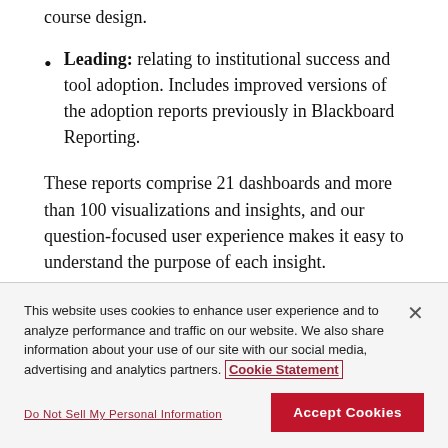course design.
Leading: relating to institutional success and tool adoption. Includes improved versions of the adoption reports previously in Blackboard Reporting.
These reports comprise 21 dashboards and more than 100 visualizations and insights, and our question-focused user experience makes it easy to understand the purpose of each insight.
This website uses cookies to enhance user experience and to analyze performance and traffic on our website. We also share information about your use of our site with our social media, advertising and analytics partners. Cookie Statement
Do Not Sell My Personal Information
Accept Cookies